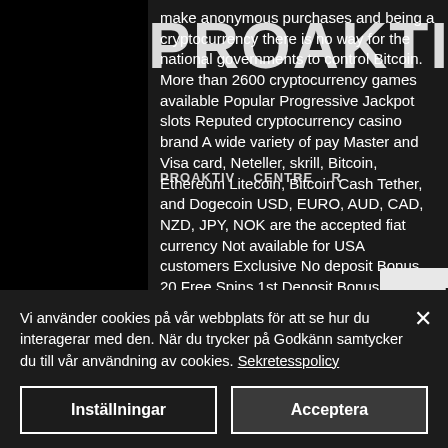make anonymous purchases and being a cryptocurrency there is no way for the national governments to control Bitcoin. More than 2600 cryptocurrency games available Popular Progressive Jackpot slots Reputed cryptocurrency casino brand A wide variety of pay Master and Visa card, Neteller, skrill, Bitcoin, Ethereum Litecoin, Bitcoin Cash Tether, and Dogecoin USD, EURO, AUD, CAD, NZD, JPY, NOK are the accepted fiat currency Not available for USA customers Exclusive No deposit Bonus 20 Free Spins 1st Deposit Bonus: 100% bonus up to 1BTC/100' + 180 Free Spins Additional Deposit Bonuses: up to
[Figure (screenshot): PROAKTIV logo text overlaid on content]
[Figure (screenshot): Navigation bar with PROAKTIV menu items overlaid]
[Figure (screenshot): Boka tid button popup overlay]
Vi använder cookies på vår webbplats för att se hur du interagerar med den. När du trycker på Godkänn samtycker du till vår användning av cookies. Sekretesspolicy
Inställningar
Acceptera